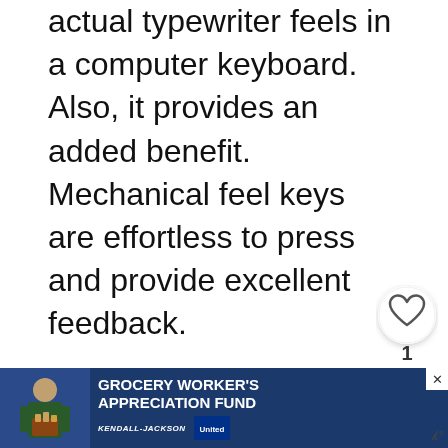actual typewriter feels in a computer keyboard. Also, it provides an added benefit. Mechanical feel keys are effortless to press and provide excellent feedback.
Hence, these mechanical keys improve the typing speed on the keyboard and are more durable than membrane keyboard
In the budget gaming keyboard options under 1500, we would find mostly, non-mechanical keyboard types present. H...
[Figure (screenshot): UI overlay elements: heart/like button with count 1, share button, 'What's Next' panel showing '7 Best Gaming...' thumbnail, and a 'Grocery Worker's Appreciation Fund' advertisement banner with Kendall Jackson and United Way logos.]